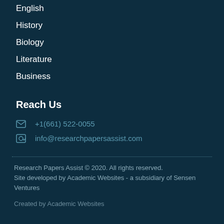English
History
Biology
Literature
Business
Reach Us
+1(661) 522-0055
info@researchpapersassist.com
Research Papers Assist © 2020. All rights reserved. Site developed by Academic Websites - a subsidiary of Sensen Ventures
Created by Academic Websites